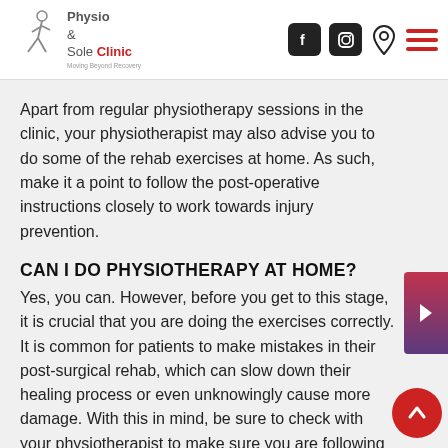[Figure (logo): Physio & Sole Clinic logo with stylized runner figure and tagline 'Moving Beyond Recovery']
Apart from regular physiotherapy sessions in the clinic, your physiotherapist may also advise you to do some of the rehab exercises at home. As such, make it a point to follow the post-operative instructions closely to work towards injury prevention.
CAN I DO PHYSIOTHERAPY AT HOME?
Yes, you can. However, before you get to this stage, it is crucial that you are doing the exercises correctly. It is common for patients to make mistakes in their post-surgical rehab, which can slow down their healing process or even unknowingly cause more damage. With this in mind, be sure to check with your physiotherapist to make sure you are following